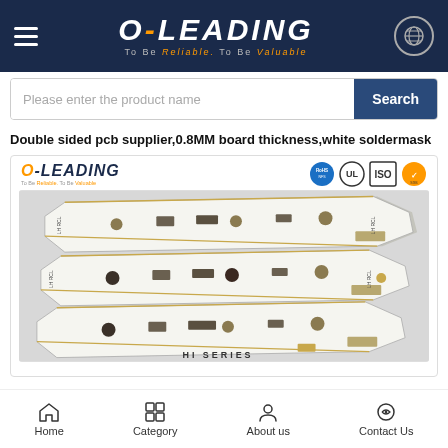O-LEADING — To Be Reliable. To Be Valuable.
Please enter the product name
Double sided pcb supplier,0.8MM board thickness,white soldermask
[Figure (photo): Product photo of white double-sided PCB boards with 'HI SERIES' label, showing three elongated circuit boards with components. O-LEADING logo and certification icons (RoHS, UL, ISO, SGS) shown in card header.]
Home  Category  About us  Contact Us